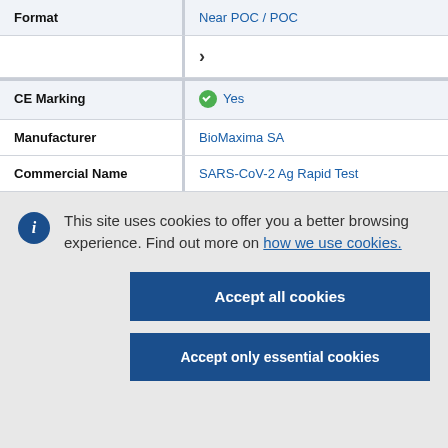|  |  |
| --- | --- |
| Format | Near POC / POC |
|  | ► |
| CE Marking | ✓ Yes |
| Manufacturer | BioMaxima SA |
| Commercial Name | SARS-CoV-2 Ag Rapid Test |
This site uses cookies to offer you a better browsing experience. Find out more on how we use cookies.
Accept all cookies
Accept only essential cookies